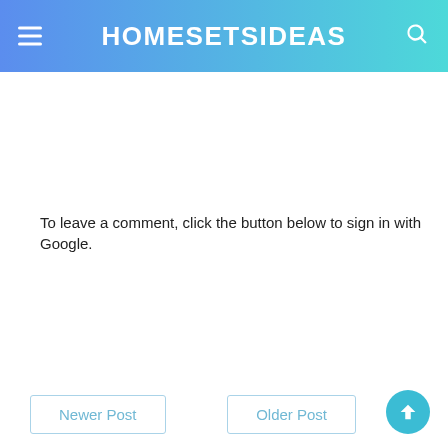HOMESETSIDEAS
To leave a comment, click the button below to sign in with Google.
[Figure (other): Blue 'SIGN IN WITH GOOGLE' button]
Newer Post | Older Post